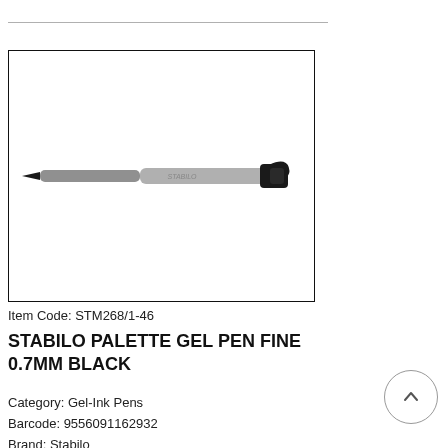[Figure (photo): A grey STABILO Palette gel pen with black clip and black tip, shown horizontally against a white background, inside a black-bordered rectangle.]
Item Code: STM268/1-46
STABILO PALETTE GEL PEN FINE 0.7MM BLACK
Category: Gel-Ink Pens
Barcode: 9556091162932
Brand: Stabilo